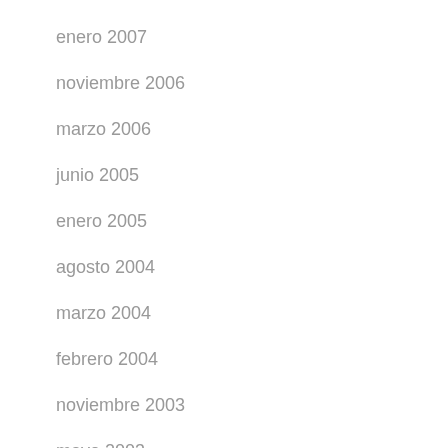enero 2007
noviembre 2006
marzo 2006
junio 2005
enero 2005
agosto 2004
marzo 2004
febrero 2004
noviembre 2003
mayo 2003